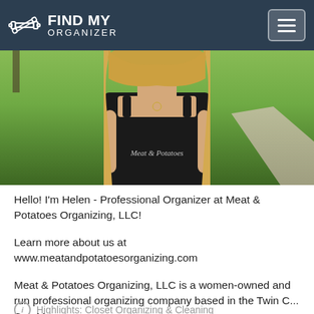FIND MY ORGANIZER
[Figure (photo): A young woman with long blonde hair wearing a black tank top with 'Meat & Potatoes' text, standing outdoors with a green blurred background and a path visible.]
Hello! I'm Helen - Professional Organizer at Meat & Potatoes Organizing, LLC!
Learn more about us at www.meatandpotatoesorganizing.com
Meat & Potatoes Organizing, LLC is a women-owned and run professional organizing company based in the Twin C... See More
Highlights: Closet Organizing & Cleaning